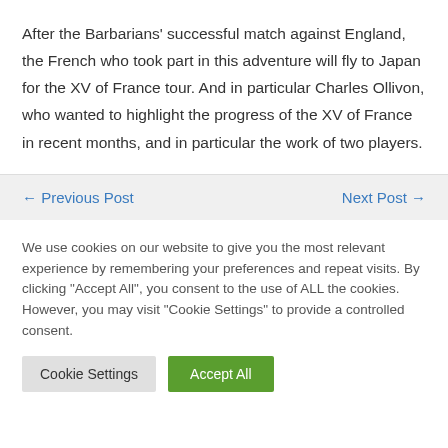After the Barbarians' successful match against England, the French who took part in this adventure will fly to Japan for the XV of France tour. And in particular Charles Ollivon, who wanted to highlight the progress of the XV of France in recent months, and in particular the work of two players.
← Previous Post    Next Post →
We use cookies on our website to give you the most relevant experience by remembering your preferences and repeat visits. By clicking "Accept All", you consent to the use of ALL the cookies. However, you may visit "Cookie Settings" to provide a controlled consent.